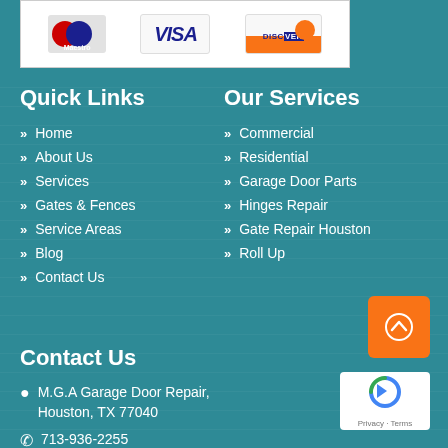[Figure (illustration): Payment logos: Maestro, Visa, Discover on white banner]
Quick Links
Our Services
Home
Commercial
About Us
Residential
Services
Garage Door Parts
Gates & Fences
Hinges Repair
Service Areas
Gate Repair Houston
Blog
Roll Up
Contact Us
Contact Us
M.G.A Garage Door Repair, Houston, TX 77040
713-936-2255